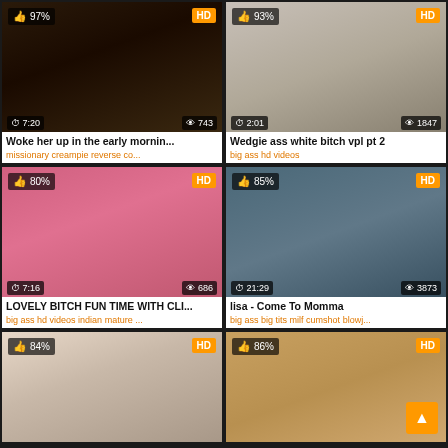[Figure (screenshot): Video thumbnail grid showing 6 video cards in 2-column layout. Each card has a thumbnail image, percentage badge, HD badge, duration, view count, title, and tags.]
Woke her up in the early mornin... | 97% | HD | 7:20 | 743 views | missionary creampie reverse co...
Wedgie ass white bitch vpl pt 2 | 93% | HD | 2:01 | 1847 views | big ass hd videos
LOVELY BITCH FUN TIME WITH CLI... | 80% | HD | 7:16 | 686 views | big ass hd videos indian mature ...
lisa - Come To Momma | 85% | HD | 21:29 | 3873 views | big ass big tits milf cumshot blowj...
84% | HD (thumbnail only)
86% | HD (thumbnail only)